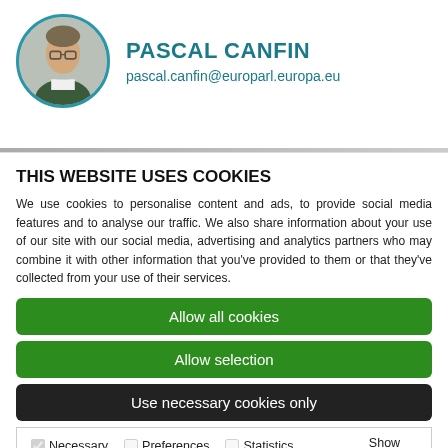[Figure (photo): Circular portrait photo of Pascal Canfin with a teal/blue circular border]
PASCAL CANFIN
pascal.canfin@europarl.europa.eu
THIS WEBSITE USES COOKIES
We use cookies to personalise content and ads, to provide social media features and to analyse our traffic. We also share information about your use of our site with our social media, advertising and analytics partners who may combine it with other information that you've provided to them or that they've collected from your use of their services.
Allow all cookies
Allow selection
Use necessary cookies only
Necessary  Preferences  Statistics  Marketing  Show details